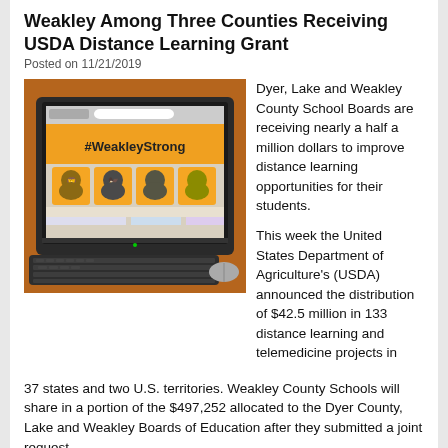Weakley Among Three Counties Receiving USDA Distance Learning Grant
Posted on 11/21/2019
[Figure (photo): A computer monitor on a desk showing a webpage with '#WeakleyStrong' text and colorful school mascot graphics, with a keyboard in the foreground.]
Dyer, Lake and Weakley County School Boards are receiving nearly a half a million dollars to improve distance learning opportunities for their students.
This week the United States Department of Agriculture's (USDA) announced the distribution of $42.5 million in 133 distance learning and telemedicine projects in 37 states and two U.S. territories. Weakley County Schools will share in a portion of the $497,252 allocated to the Dyer County, Lake and Weakley Boards of Education after they submitted a joint request.